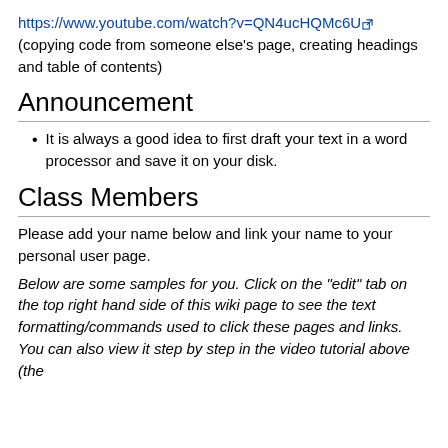https://www.youtube.com/watch?v=QN4ucHQMc6U (copying code from someone else's page, creating headings and table of contents)
Announcement
It is always a good idea to first draft your text in a word processor and save it on your disk.
Class Members
Please add your name below and link your name to your personal user page.
Below are some samples for you. Click on the "edit" tab on the top right hand side of this wiki page to see the text formatting/commands used to click these pages and links. You can also view it step by step in the video tutorial above (the